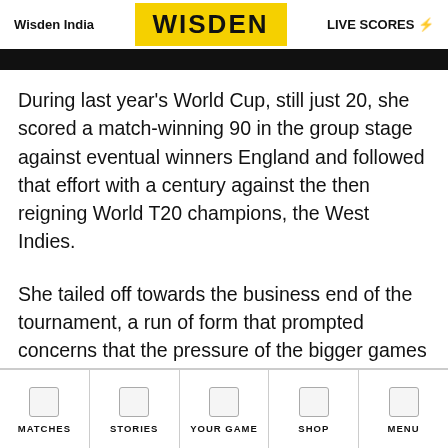Wisden India | WISDEN | LIVE SCORES
During last year's World Cup, still just 20, she scored a match-winning 90 in the group stage against eventual winners England and followed that effort with a century against the then reigning World T20 champions, the West Indies.
She tailed off towards the business end of the tournament, a run of form that prompted concerns that the pressure of the bigger games got to her.
MATCHES | STORIES | YOUR GAME | SHOP | MENU